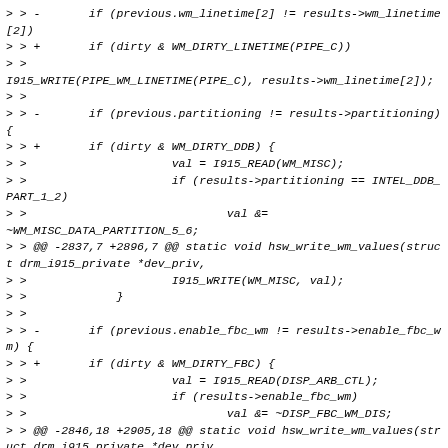> > -       if (previous.wm_linetime[2] != results->wm_linetime[2])
> > +       if (dirty & WM_DIRTY_LINETIME(PIPE_C))
> >
I915_WRITE(PIPE_WM_LINETIME(PIPE_C), results->wm_linetime[2]);
> >
> > -       if (previous.partitioning != results->partitioning) {
> > +       if (dirty & WM_DIRTY_DDB) {
> >                     val = I915_READ(WM_MISC);
> >                     if (results->partitioning == INTEL_DDB_PART_1_2)
> >                             val &= ~WM_MISC_DATA_PARTITION_5_6;
> > @@ -2837,7 +2896,7 @@ static void hsw_write_wm_values(struct drm_i915_private *dev_priv,
> >                     I915_WRITE(WM_MISC, val);
> >             }
> >
> > -       if (previous.enable_fbc_wm != results->enable_fbc_wm) {
> > +       if (dirty & WM_DIRTY_FBC) {
> >                     val = I915_READ(DISP_ARB_CTL);
> >                     if (results->enable_fbc_wm)
> >                             val &= ~DISP_FBC_WM_DIS;
> > @@ -2846,18 +2905,18 @@ static void hsw_write_wm_values(struct drm_i915_private *dev_priv,
> >                     I915_WRITE(DISP_ARB_CTL, val);
> >             }